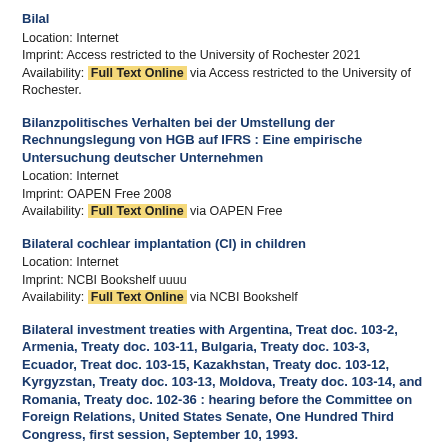Bilal
Location: Internet
Imprint: Access restricted to the University of Rochester 2021
Availability: Full Text Online via Access restricted to the University of Rochester.
Bilanzpolitisches Verhalten bei der Umstellung der Rechnungslegung von HGB auf IFRS : Eine empirische Untersuchung deutscher Unternehmen
Location: Internet
Imprint: OAPEN Free 2008
Availability: Full Text Online via OAPEN Free
Bilateral cochlear implantation (CI) in children
Location: Internet
Imprint: NCBI Bookshelf uuuu
Availability: Full Text Online via NCBI Bookshelf
Bilateral investment treaties with Argentina, Treat doc. 103-2, Armenia, Treaty doc. 103-11, Bulgaria, Treaty doc. 103-3, Ecuador, Treat doc. 103-15, Kazakhstan, Treaty doc. 103-12, Kyrgyzstan, Treaty doc. 103-13, Moldova, Treaty doc. 103-14, and Romania, Treaty doc. 102-36 : hearing before the Committee on Foreign Relations, United States Senate, One Hundred Third Congress, first session, September 10, 1993.
Author: United States. Congress. Senate. Committee on Foreign Relations.
Location: Internet